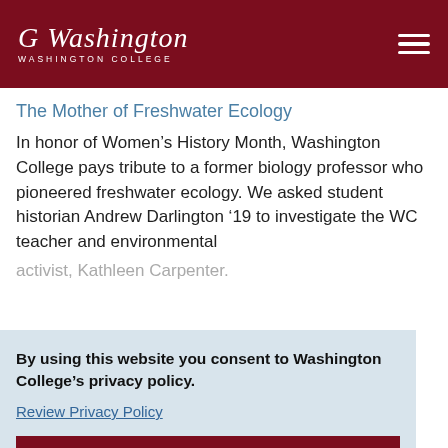Washington College
The Mother of Freshwater Ecology
In honor of Women’s History Month, Washington College pays tribute to a former biology professor who pioneered freshwater ecology. We asked student historian Andrew Darlington ’19 to investigate the WC teacher and environmental activist, Kathleen Carpenter.
By using this website you consent to Washington College’s privacy policy.
Review Privacy Policy
Dismiss
features the College’s Natural Lands Project on